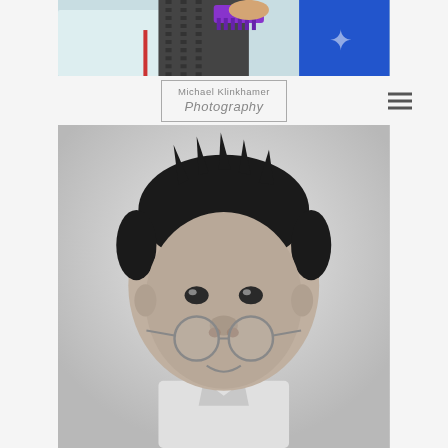[Figure (photo): Top portion of a color photograph showing children and adults, cropped at bottom. A purple comb and blue outfit are visible.]
[Figure (logo): Michael Klinkhamer Photography logo in a rectangular border]
[Figure (photo): Black and white portrait of a young Asian boy with spiky hair wearing round glasses pushed down his nose and a white collared shirt, looking slightly upward at the camera.]